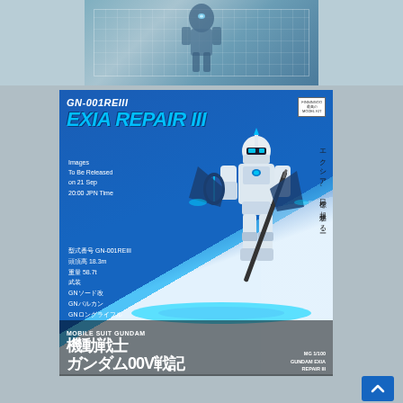[Figure (photo): Top banner showing a Gundam mecha figure in blue-grey tones with grid background]
[Figure (photo): Product box art for MG 1/100 GN-001REIII Gundam Exia Repair III model kit, showing white/blue mecha figure on blue background with Japanese text]
GN-001REIII
EXIA REPAIR III
Images To Be Released on 21 Sep 20:00 JPN Time
型式番号 GN-001REIII
頭頂高 18.3m
重量 58.7t
武装
GNソード改
GNバルカン
GNロングライフル
エクシア、目標を超越するー
MOBILE SUIT GUNDAM
機動戦士
ガンダム00V戦記
MG 1/100
GUNDAM EXIA
REPAIR III